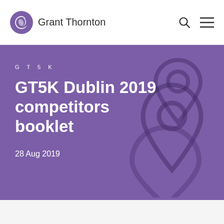Grant Thornton
GT5K
GT5K Dublin 2019 competitors booklet
28 Aug 2019